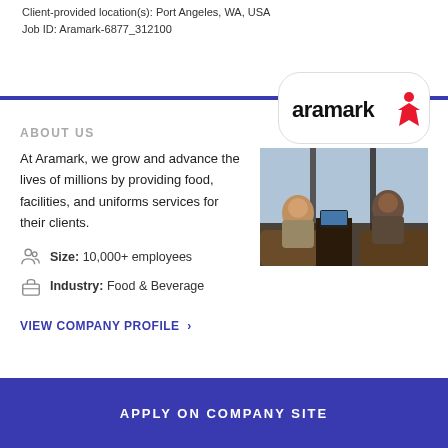Client-provided location(s): Port Angeles, WA, USA
Job ID: Aramark-6877_312100
[Figure (logo): Aramark logo with red star figure on white rounded rectangle]
ABOUT US
At Aramark, we grow and advance the lives of millions by providing food, facilities, and uniforms services for their clients.
[Figure (photo): Two people sitting at a table in a modern space, one looking at a laptop]
Size: 10,000+ employees
Industry: Food & Beverage
VIEW COMPANY PROFILE >
APPLY ON COMPANY SITE